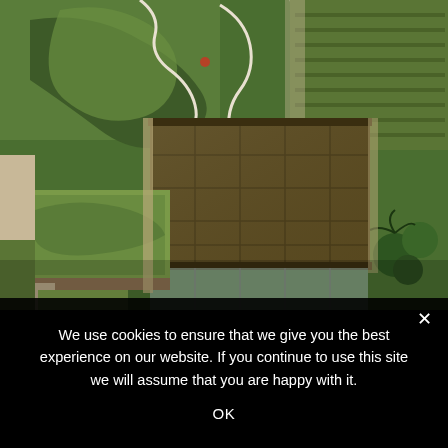[Figure (photo): Aerial view of a modern building complex with lush green rooftop gardens, planted terraces, vegetable beds, palm trees, and organic curved pathways viewed from above. A central building has a dark tiled roof with solar panels visible.]
We use cookies to ensure that we give you the best experience on our website. If you continue to use this site we will assume that you are happy with it.
OK